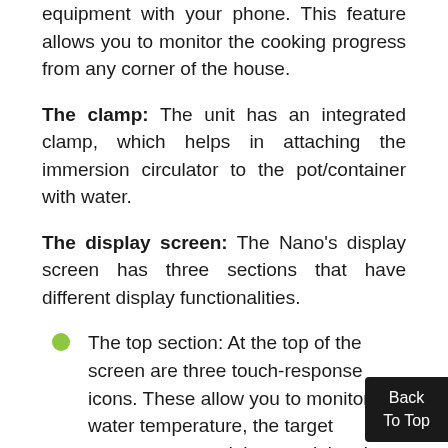equipment with your phone. This feature allows you to monitor the cooking progress from any corner of the house.
The clamp: The unit has an integrated clamp, which helps in attaching the immersion circulator to the pot/container with water.
The display screen: The Nano’s display screen has three sections that have different display functionalities.
The top section: At the top of the screen are three touch-response icons. These allow you to monitor the water temperature, the target temperature, and the remaining time.